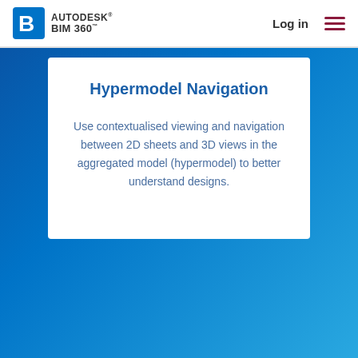AUTODESK® BIM 360™ — Log in
Hypermodel Navigation
Use contextualised viewing and navigation between 2D sheets and 3D views in the aggregated model (hypermodel) to better understand designs.